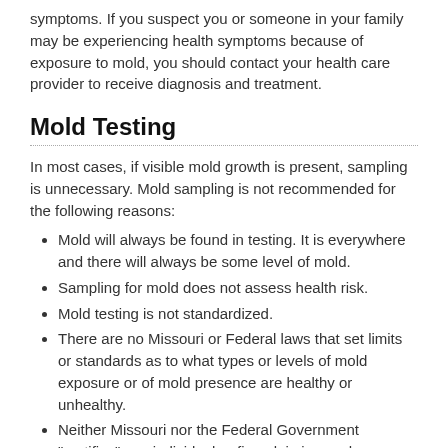symptoms. If you suspect you or someone in your family may be experiencing health symptoms because of exposure to mold, you should contact your health care provider to receive diagnosis and treatment.
Mold Testing
In most cases, if visible mold growth is present, sampling is unnecessary. Mold sampling is not recommended for the following reasons:
Mold will always be found in testing. It is everywhere and there will always be some level of mold.
Sampling for mold does not assess health risk.
Mold testing is not standardized.
There are no Missouri or Federal laws that set limits or standards as to what types or levels of mold exposure or of mold presence are healthy or unhealthy.
Neither Missouri nor the Federal Government "certifies" any individual or firm claiming such designation of mold tester. In Missouri, mold testers may receive a business license; however, since it is not a regulated industry, no standards or levels of training are required to become "licensed."